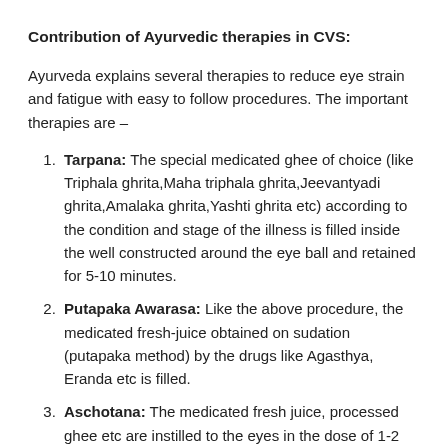Contribution of Ayurvedic therapies in CVS:
Ayurveda explains several therapies to reduce eye strain and fatigue with easy to follow procedures. The important therapies are –
Tarpana: The special medicated ghee of choice (like Triphala ghrita,Maha triphala ghrita,Jeevantyadi ghrita,Amalaka ghrita,Yashti ghrita etc) according to the condition and stage of the illness is filled inside the well constructed around the eye ball and retained for 5-10 minutes.
Putapaka Awarasa: Like the above procedure, the medicated fresh-juice obtained on sudation (putapaka method) by the drugs like Agasthya, Eranda etc is filled.
Aschotana: The medicated fresh juice, processed ghee etc are instilled to the eyes in the dose of 1-2 drops.
Seka: Pouring of soothening decoctions or